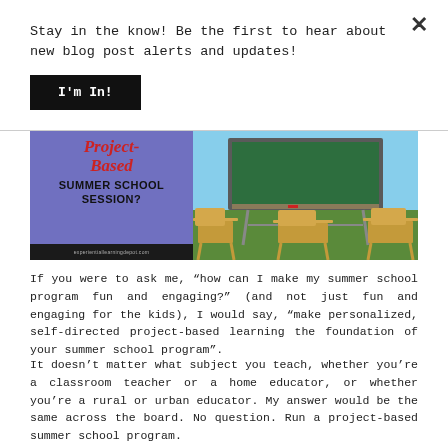Stay in the know! Be the first to hear about new blog post alerts and updates!
[Figure (illustration): Blog post header image with left purple panel showing 'Project-Based Summer School Session?' text and right panel showing classroom desks and chalkboard outdoors against blue sky]
If you were to ask me, "how can I make my summer school program fun and engaging?" (and not just fun and engaging for the kids), I would say, "make personalized, self-directed project-based learning the foundation of your summer school program".
It doesn't matter what subject you teach, whether you're a classroom teacher or a home educator, or whether you're a rural or urban educator. My answer would be the same across the board. No question. Run a project-based summer school program.